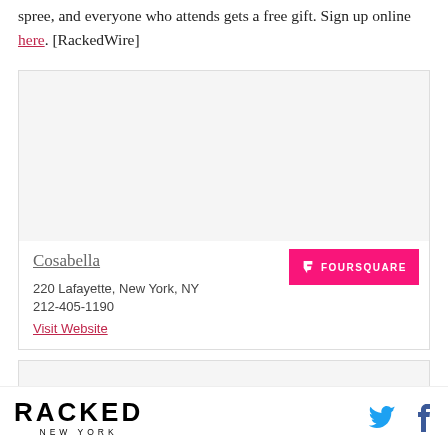spree, and everyone who attends gets a free gift. Sign up online here. [RackedWire]
[Figure (other): Card with image area for Cosabella store listing]
Cosabella
220 Lafayette, New York, NY
212-405-1190
Visit Website
[Figure (other): Second card with image area (partial)]
RACKED NEW YORK